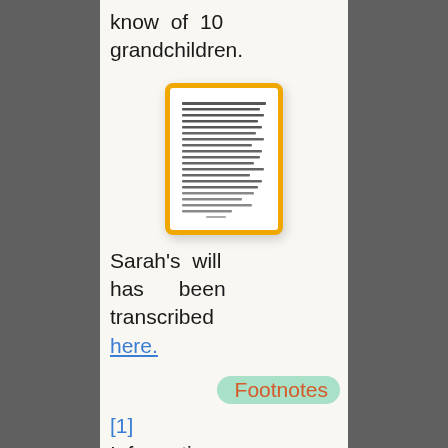know of 10 grandchildren.
[Figure (photo): Thumbnail image of a handwritten or typed document page with dense text, shown with an orange/yellow border]
Sarah's will has been transcribed here.
Footnotes
[1] Information gathered from Sarah's